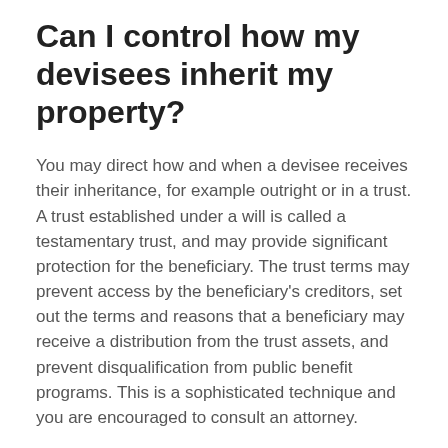Can I control how my devisees inherit my property?
You may direct how and when a devisee receives their inheritance, for example outright or in a trust. A trust established under a will is called a testamentary trust, and may provide significant protection for the beneficiary. The trust terms may prevent access by the beneficiary's creditors, set out the terms and reasons that a beneficiary may receive a distribution from the trust assets, and prevent disqualification from public benefit programs. This is a sophisticated technique and you are encouraged to consult an attorney.
What happens if there is no will?